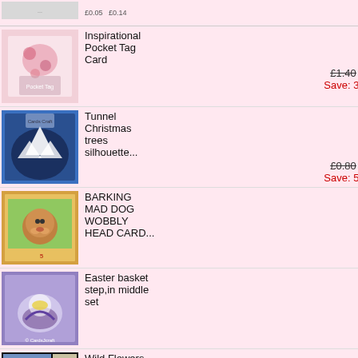[Figure (photo): Top partial product image (cropped at top)]
[Figure (photo): Inspirational Pocket Tag Card - floral pink craft card product thumbnail]
Inspirational Pocket Tag Card
£1.40  £0.98
Save: 30% off
[Figure (photo): Tunnel Christmas trees silhouette - blue Christmas card thumbnail]
Tunnel Christmas trees silhouette...
£0.80  £0.40
Save: 50% off
[Figure (photo): Barking Mad Dog Wobbly Head Card - dog cartoon thumbnail]
BARKING MAD DOG WOBBLY HEAD CARD...
£1.20
[Figure (photo): Easter basket step in middle set - purple Easter card thumbnail]
Easter basket step,in middle set
£0.80
[Figure (photo): Wild Flowers Mini Kit - floral card thumbnail]
Wild Flowers Mini Kit
£1.00